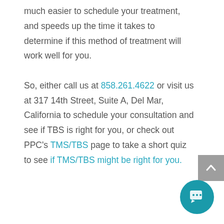much easier to schedule your treatment, and speeds up the time it takes to determine if this method of treatment will work well for you.

So, either call us at 858.261.4622 or visit us at 317 14th Street, Suite A, Del Mar, California to schedule your consultation and see if TBS is right for you, or check out PPC's TMS/TBS page to take a short quiz to see if TMS/TBS might be right for you.